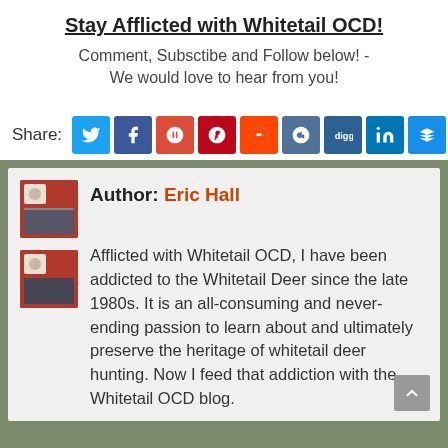Stay Afflicted with Whitetail OCD!
Comment, Subsctibe and Follow below! - We would love to hear from you!
Share:
Author: Eric Hall
Afflicted with Whitetail OCD, I have been addicted to the Whitetail Deer since the late 1980s. It is an all-consuming and never-ending passion to learn about and ultimately preserve the heritage of whitetail deer hunting. Now I feed that addiction with the Whitetail OCD blog.